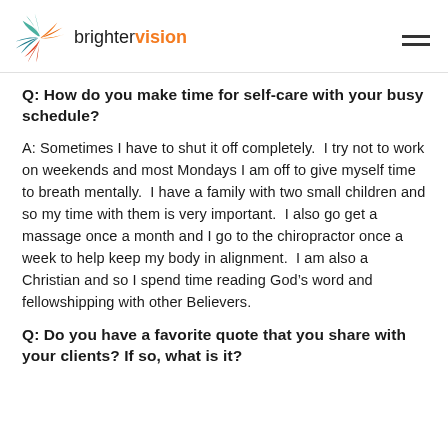[Figure (logo): Brighter Vision logo with colorful swirling feather/wing icon and text 'brightervision' where 'vision' is in orange]
Q: How do you make time for self-care with your busy schedule?
A: Sometimes I have to shut it off completely.  I try not to work on weekends and most Mondays I am off to give myself time to breath mentally.  I have a family with two small children and so my time with them is very important.  I also go get a massage once a month and I go to the chiropractor once a week to help keep my body in alignment.  I am also a Christian and so I spend time reading God’s word and fellowshipping with other Believers.
Q: Do you have a favorite quote that you share with your clients? If so, what is it?